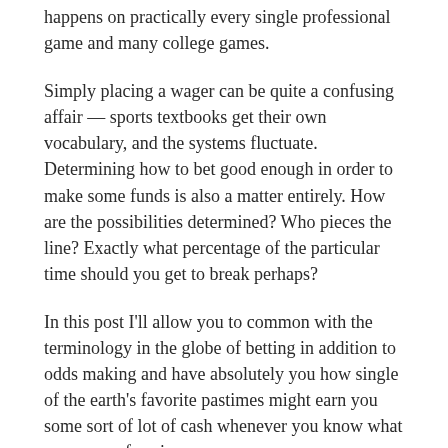happens on practically every single professional game and many college games.
Simply placing a wager can be quite a confusing affair — sports textbooks get their own vocabulary, and the systems fluctuate. Determining how to bet good enough in order to make some funds is also a matter entirely. How are the possibilities determined? Who pieces the line? Exactly what percentage of the particular time should you get to break perhaps?
In this post I'll allow you to common with the terminology in the globe of betting in addition to odds making and have absolutely you how single of the earth's favorite pastimes might earn you some sort of lot of cash whenever you know what you are performing.